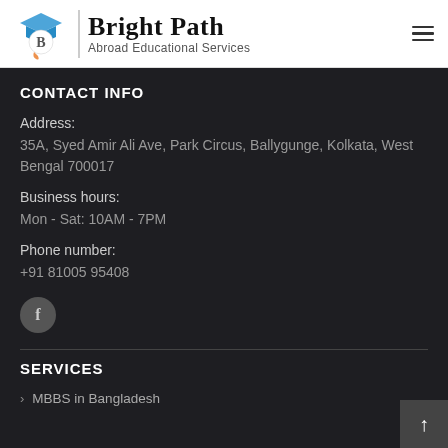[Figure (logo): BrightPath Abroad Educational Services logo with graduation cap icon]
CONTACT INFO
Address:
35A, Syed Amir Ali Ave, Park Circus, Ballygunge, Kolkata, West Bengal 700017
Business hours:
Mon - Sat: 10AM - 7PM
Phone number:
+91 81005 95408
[Figure (illustration): Facebook icon in a dark circular button]
SERVICES
MBBS in Bangladesh